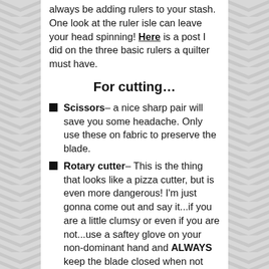always be adding rulers to your stash. One look at the ruler isle can leave your head spinning! Here is a post I did on the three basic rulers a quilter must have.
For cutting…
Scissors– a nice sharp pair will save you some headache. Only use these on fabric to preserve the blade.
Rotary cutter– This is the thing that looks like a pizza cutter, but is even more dangerous! I'm just gonna come out and say it...if you are a little clumsy or even if you are not...use a saftey glove on your non-dominant hand and ALWAYS keep the blade closed when not cutting! LOTS of